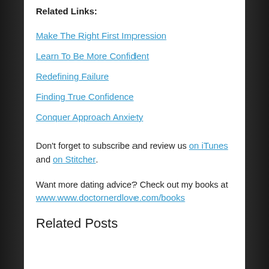Related Links:
Make The Right First Impression
Learn To Be More Confident
Redefining Failure
Finding True Confidence
Conquer Approach Anxiety
Don't forget to subscribe and review us on iTunes and on Stitcher.
Want more dating advice? Check out my books at www.www.doctornerdlove.com/books
Related Posts